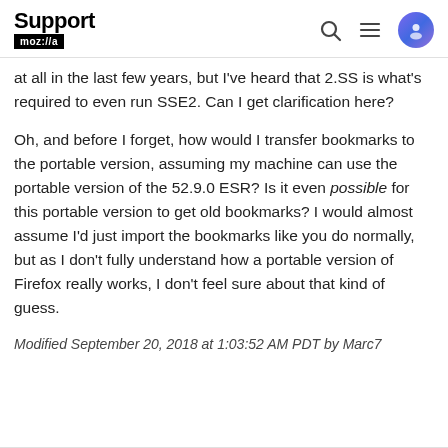Support mozilla://a
at all in the last few years, but I've heard that 2.SS is what's required to even run SSE2. Can I get clarification here?
Oh, and before I forget, how would I transfer bookmarks to the portable version, assuming my machine can use the portable version of the 52.9.0 ESR? Is it even possible for this portable version to get old bookmarks? I would almost assume I'd just import the bookmarks like you do normally, but as I don't fully understand how a portable version of Firefox really works, I don't feel sure about that kind of guess.
Modified September 20, 2018 at 1:03:52 AM PDT by Marc7